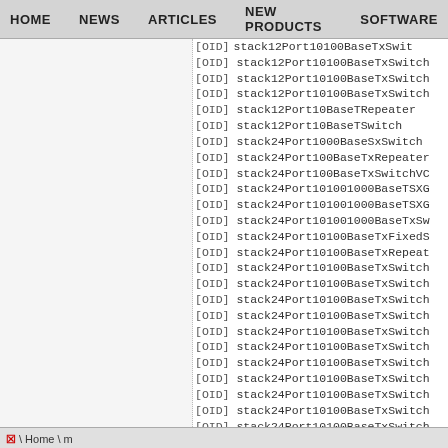HOME  NEWS  ARTICLES  NEW PRODUCTS  SOFTWARE
[OID]  stack12Port10100BaseTxSwitch (faded/truncated)
[OID]  stack12Port10100BaseTxSwitch
[OID]  stack12Port10100BaseTxSwitch
[OID]  stack12Port10100BaseTxSwitch
[OID]  stack12Port10BaseTRepeater
[OID]  stack12Port10BaseTSwitch
[OID]  stack24Port1000BaseSxSwitch
[OID]  stack24Port100BaseTxRepeater
[OID]  stack24Port100BaseTxSwitchVC
[OID]  stack24Port101001000BaseTSXG
[OID]  stack24Port101001000BaseTSXG
[OID]  stack24Port101001000BaseTxSw
[OID]  stack24Port10100BaseTxFixedS
[OID]  stack24Port10100BaseTxRepeat
[OID]  stack24Port10100BaseTxSwitch
[OID]  stack24Port10100BaseTxSwitch
[OID]  stack24Port10100BaseTxSwitch
[OID]  stack24Port10100BaseTxSwitch
[OID]  stack24Port10100BaseTxSwitch
[OID]  stack24Port10100BaseTxSwitch
[OID]  stack24Port10100BaseTxSwitch
[OID]  stack24Port10100BaseTxSwitch
[OID]  stack24Port10100BaseTxSwitch
[OID]  stack24Port10100BaseTxSwitch
[OID]  stack24Port10100BaseTxSwitch
[OID]  stack24Port10100BaseTxSwitch
✕ \ Home \ m